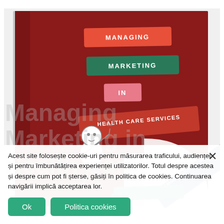[Figure (illustration): Book cover for 'Managing Marketing in Health Care Services' by Iuliana-Raluca Gheorghe. Dark red cover with colored label-style text banners reading MANAGING (red), MARKETING (green), IN (pink), HEALTH CARE SERVICES (red diagonal). A cartoon figure of a person in a white coat pointing upward. Author name on blue diagonal label. Green sticker at bottom.]
Acest site folosește cookie-uri pentru măsurarea traficului, audienței și pentru îmbunătățirea experienței utilizatorilor. Totul despre acestea și despre cum pot fi șterse, găsiți în politica de cookies. Continuarea navigării implică acceptarea lor.